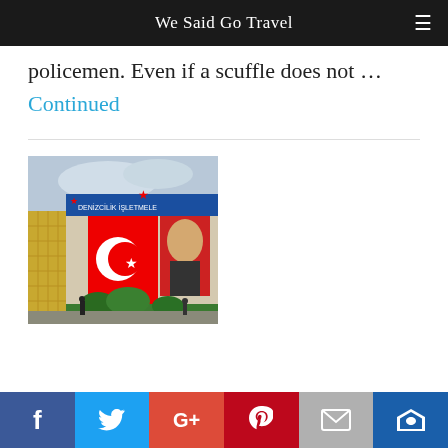We Said Go Travel
policemen. Even if a scuffle does not ...
Continued
[Figure (photo): Street scene in Turkey showing a building draped with a large Turkish flag (red with white crescent and star) and a portrait banner, with trees and people in the foreground.]
Social share bar: Facebook, Twitter, Google+, Pinterest, Email, Crown